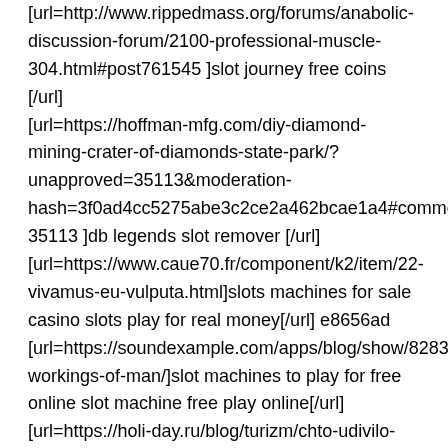[url=http://www.rippedmass.org/forums/anabolic-discussion-forum/2100-professional-muscle-304.html#post761545 ]slot journey free coins [/url]
[url=https://hoffman-mfg.com/diy-diamond-mining-crater-of-diamonds-state-park/?unapproved=35113&moderation-hash=3f0ad4cc5275abe3c2ce2a462bcae1a4#comment-35113 ]db legends slot remover [/url]
[url=https://www.caue70.fr/component/k2/item/22-vivamus-eu-vulputa.html]slots machines for sale casino slots play for real money[/url] e8656ad
[url=https://soundexample.com/apps/blog/show/8283487-workings-of-man/]slot machines to play for free online slot machine free play online[/url]
[url=https://holi-day.ru/blog/turizm/chto-udivilo-na-otdyhe-v-tunise]slot machine free games for fun slot punch for id cards[/url]
[url=https://stariradio-televizor.webs.com/apps/guestbook/]slot gratis senza scaricare free slot play real money[/url]